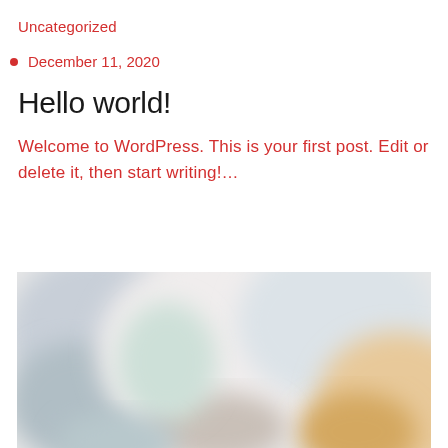Uncategorized
December 11, 2020
Hello world!
Welcome to WordPress. This is your first post. Edit or delete it, then start writing!…
[Figure (photo): A blurred photograph of people in an indoor setting, with soft pastel tones of grey, white, and warm orange/yellow.]